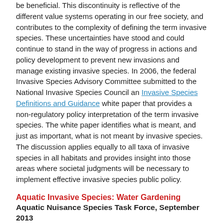be beneficial. This discontinuity is reflective of the different value systems operating in our free society, and contributes to the complexity of defining the term invasive species. These uncertainties have stood and could continue to stand in the way of progress in actions and policy development to prevent new invasions and manage existing invasive species. In 2006, the federal Invasive Species Advisory Committee submitted to the National Invasive Species Council an Invasive Species Definitions and Guidance white paper that provides a non-regulatory policy interpretation of the term invasive species. The white paper identifies what is meant, and just as important, what is not meant by invasive species. The discussion applies equally to all taxa of invasive species in all habitats and provides insight into those areas where societal judgments will be necessary to implement effective invasive species public policy.
Aquatic Invasive Species: Water Gardening
Aquatic Nuisance Species Task Force, September 2013
Water gardens, or aquatic gardens, generally are designed to house and display aquatic plants and fish. They range in size from small patio container gardens to large ponds, both natural and human-made. Despite their beauty, water gardens can lead to